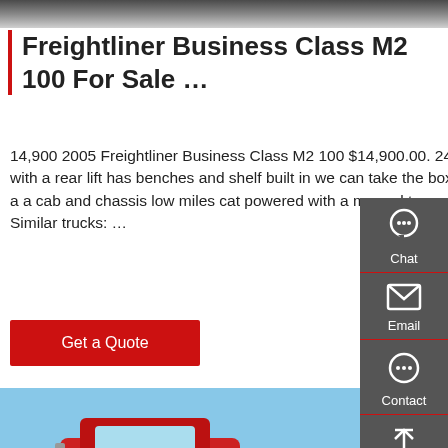[Figure (photo): Gray gradient top image bar (cropped truck photo)]
Freightliner Business Class M2 100 For Sale …
14,900 2005 Freightliner Business Class M2 100 $14,900.00. 24' van body with a rear lift has benches and shelf built in we can take the box off and use it as a cab and chassis low miles cat powered with a manual transmission. Similar trucks: …
Get a Quote
[Figure (photo): Red SITRAK dump truck photographed outdoors against a blue sky with a building in the background]